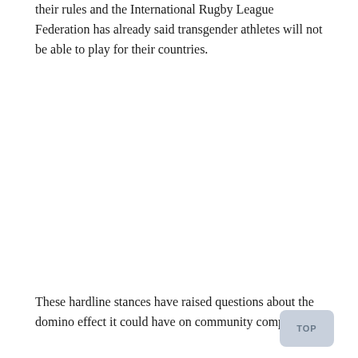their rules and the International Rugby League Federation has already said transgender athletes will not be able to play for their countries.
These hardline stances have raised questions about the domino effect it could have on community competitions.